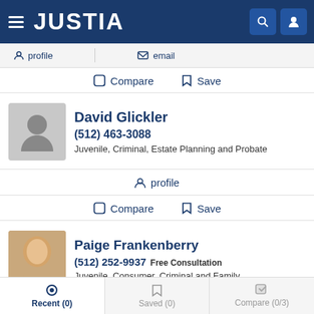JUSTIA
profile   email
Compare   Save
David Glickler
(512) 463-3088
Juvenile, Criminal, Estate Planning and Probate
profile
Compare   Save
Paige Frankenberry
(512) 252-9937 Free Consultation
Juvenile, Consumer, Criminal and Family
Recent (0)   Saved (0)   Compare (0/3)